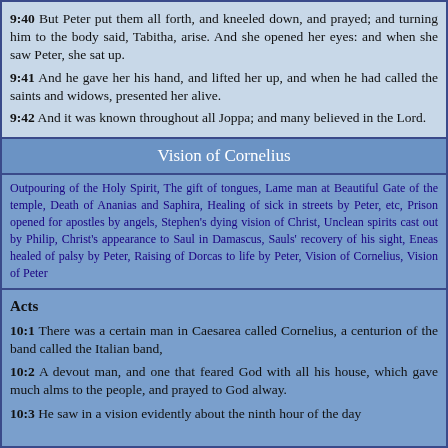9:40 But Peter put them all forth, and kneeled down, and prayed; and turning him to the body said, Tabitha, arise. And she opened her eyes: and when she saw Peter, she sat up.
9:41 And he gave her his hand, and lifted her up, and when he had called the saints and widows, presented her alive.
9:42 And it was known throughout all Joppa; and many believed in the Lord.
Vision of Cornelius
Outpouring of the Holy Spirit, The gift of tongues, Lame man at Beautiful Gate of the temple, Death of Ananias and Saphira, Healing of sick in streets by Peter, etc, Prison opened for apostles by angels, Stephen's dying vision of Christ, Unclean spirits cast out by Philip, Christ's appearance to Saul in Damascus, Sauls' recovery of his sight, Eneas healed of palsy by Peter, Raising of Dorcas to life by Peter, Vision of Cornelius, Vision of Peter
Acts
10:1 There was a certain man in Caesarea called Cornelius, a centurion of the band called the Italian band,
10:2 A devout man, and one that feared God with all his house, which gave much alms to the people, and prayed to God alway.
10:3 He saw in a vision evidently about the ninth hour of the day